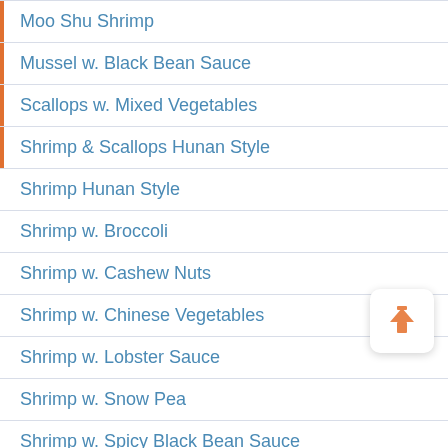Moo Shu Shrimp
Mussel w. Black Bean Sauce
Scallops w. Mixed Vegetables
Shrimp & Scallops Hunan Style
Shrimp Hunan Style
Shrimp w. Broccoli
Shrimp w. Cashew Nuts
Shrimp w. Chinese Vegetables
Shrimp w. Lobster Sauce
Shrimp w. Snow Pea
Shrimp w. Spicy Black Bean Sauce